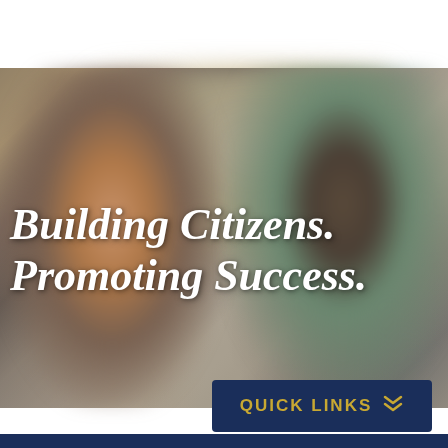[Figure (photo): Blurred photo of two students smiling, one with red/auburn hair wearing a grey hoodie on the left, and one with dark hair wearing a teal/green top on the right, with a beige wall background. Bold italic white text overlay reads 'Building Citizens. Promoting Success.']
Building Citizens. Promoting Success.
QUICK LINKS